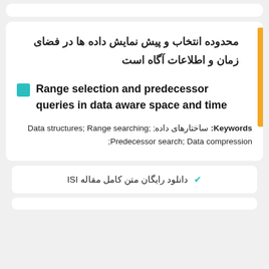محدوده انتخاب و پیش نمایش داده ها در فضای زمان و اطلاعات آگاه است
Range selection and predecessor queries in data aware space and time
Keywords: ساختارهای داده; Data structures; Range searching; Predecessor search; Data compression;
✔ دانلود رایگان متن کامل مقاله ISI